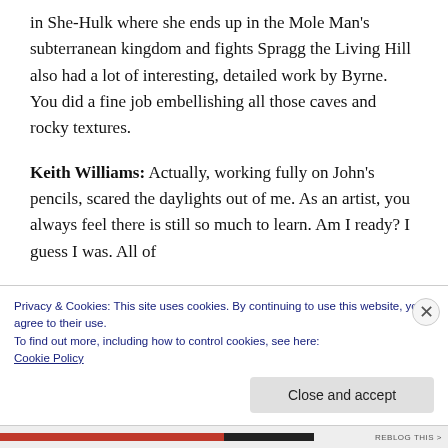in She-Hulk where she ends up in the Mole Man's subterranean kingdom and fights Spragg the Living Hill also had a lot of interesting, detailed work by Byrne. You did a fine job embellishing all those caves and rocky textures.
Keith Williams: Actually, working fully on John's pencils, scared the daylights out of me. As an artist, you always feel there is still so much to learn. Am I ready? I guess I was. All of
Privacy & Cookies: This site uses cookies. By continuing to use this website, you agree to their use.
To find out more, including how to control cookies, see here:
Cookie Policy